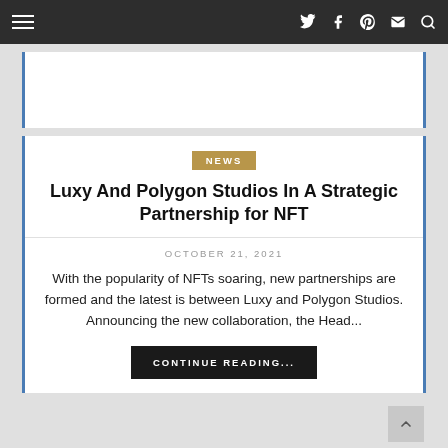Navigation bar with hamburger menu and social icons (Twitter, Facebook, Pinterest, Email, Search)
NEWS
Luxy And Polygon Studios In A Strategic Partnership for NFT
OCTOBER 21, 2021
With the popularity of NFTs soaring, new partnerships are formed and the latest is between Luxy and Polygon Studios. Announcing the new collaboration, the Head...
CONTINUE READING...